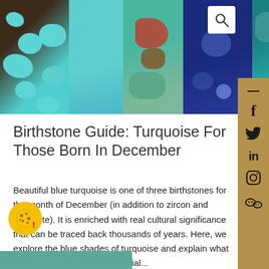[Figure (photo): Horizontal banner with five close-up panels of gemstones: turquoise with brown matrix, solid sky-blue turquoise, turquoise with red/green matrix, lapis lazuli in deep blue, and teal turquoise. A white search box with magnifying glass icon is in the top-right corner.]
Birthstone Guide: Turquoise For Those Born In December
Beautiful blue turquoise is one of three birthstones for the month of December (in addition to zircon and tanzanite). It is enriched with real cultural significance that can be traced back thousands of years. Here, we explore the blue shades of turquoise and explain what makes this gemstone so special...